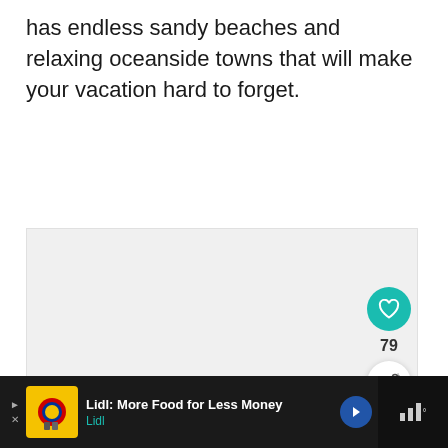has endless sandy beaches and relaxing oceanside towns that will make your vacation hard to forget.
[Figure (other): Large image placeholder area (light gray), with a circular teal like/heart button showing count 79, a circular white share button, and a 'WHAT'S NEXT' content recommendation panel]
[Figure (screenshot): Ad bar at the bottom: Lidl advertisement 'Lidl: More Food for Less Money' with yellow Lidl logo, blue navigation arrow icon, and a dark panel with signal bars icon on the right]